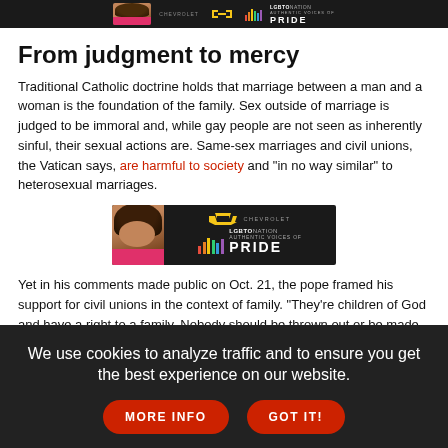[Figure (photo): Partial Chevrolet LGBTQ Nation Authentic Voices of Pride advertisement banner at top, dark background with partial view of a person in pink]
From judgment to mercy
Traditional Catholic doctrine holds that marriage between a man and a woman is the foundation of the family. Sex outside of marriage is judged to be immoral and, while gay people are not seen as inherently sinful, their sexual actions are. Same-sex marriages and civil unions, the Vatican says, are harmful to society and "in no way similar" to heterosexual marriages.
[Figure (photo): Chevrolet LGBTQ Nation Authentic Voices of Pride advertisement banner. Dark background, person with large hair in pink top on left, Chevrolet bowtie logo, colorful vertical bars, text reading LGBTO NATION AUTHENTIC VOICES OF PRIDE]
Yet in his comments made public on Oct. 21, the pope framed his support for civil unions in the context of family. "They're children of God and have a right to a family. Nobody should be thrown out or be made miserable because of it," he said in a news-breaking interview used in the documentary.
We use cookies to analyze traffic and to ensure you get the best experience on our website.
MORE INFO
GOT IT!